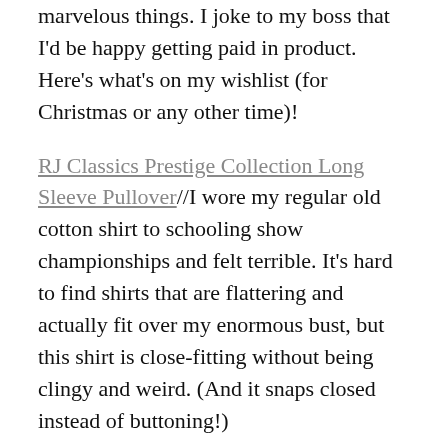marvelous things. I joke to my boss that I'd be happy getting paid in product. Here's what's on my wishlist (for Christmas or any other time)!
RJ Classics Prestige Collection Long Sleeve Pullover//I wore my regular old cotton shirt to schooling show championships and felt terrible. It's hard to find shirts that are flattering and actually fit over my enormous bust, but this shirt is close-fitting without being clingy and weird. (And it snaps closed instead of buttoning!)
Lucky Braids gallon shampoo//If you aren't using Lucky Braids, you need to be. The dry wash/whitening spray is amazing and from what I hear, so is this shampoo. I don't really